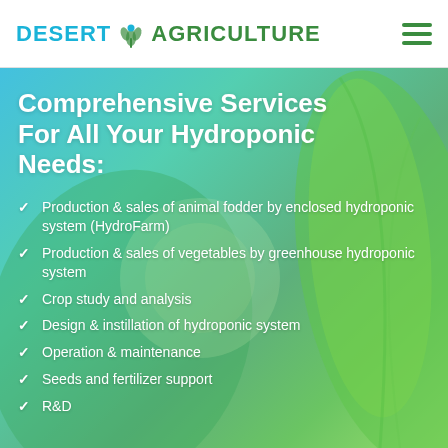DESERT AGRICULTURE
Comprehensive Services For All Your Hydroponic Needs:
Production & sales of animal fodder by enclosed hydroponic system (HydroFarm)
Production & sales of vegetables by greenhouse hydroponic system
Crop study and analysis
Design & instillation of hydroponic system
Operation & maintenance
Seeds and fertilizer support
R&D